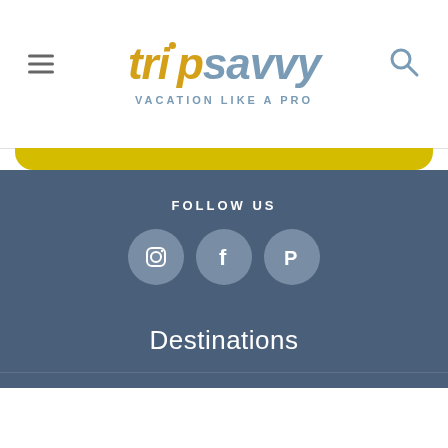[Figure (logo): TripSavvy logo with hamburger menu icon on left and search icon on right, tagline VACATION LIKE A PRO below]
FOLLOW US
[Figure (illustration): Three social media icons in rounded circles: Instagram, Facebook, Pinterest]
Destinations
Trip Planning
Inspiration
Outdoors
News